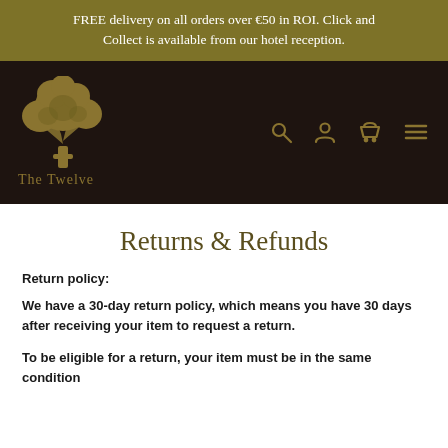FREE delivery on all orders over €50 in ROI. Click and Collect is available from our hotel reception.
[Figure (logo): The Twelve hotel logo with a tree illustration and text 'The Twelve' below it, gold on dark brown background, with navigation icons (search, user, cart, menu) in gold on the right]
Returns & Refunds
Return policy:
We have a 30-day return policy, which means you have 30 days after receiving your item to request a return.
To be eligible for a return, your item must be in the same condition